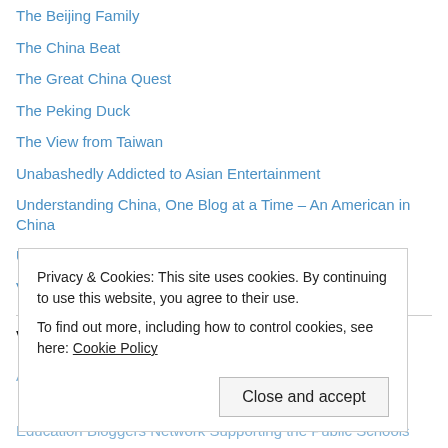The Beijing Family
The China Beat
The Great China Quest
The Peking Duck
The View from Taiwan
Unabashedly Addicted to Asian Entertainment
Understanding China, One Blog at a Time – An American in China
Unpolished Jade: A Chinese Philosophy Blog
Victoria Dixon
Variety Blogroll
A Life on the Road
Privacy & Cookies: This site uses cookies. By continuing to use this website, you agree to their use.
To find out more, including how to control cookies, see here: Cookie Policy
Education Bloggers Network Supporting the Public Schools